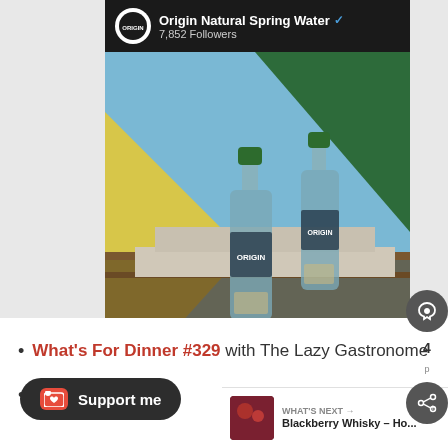[Figure (screenshot): Social media post from Origin Natural Spring Water showing two ORIGIN branded water bottles on a wooden surface with a beach/outdoor background. The post header shows the brand name, verified badge, and 7,852 followers. A heart/like icon shows 56 likes.]
What's For Dinner #329 with The Lazy Gastronome
day #550 with Mi...
WHAT'S NEXT → Blackberry Whisky – Ho...
Support me